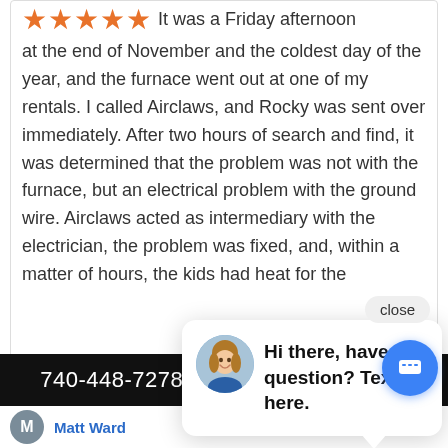[Figure (other): Five orange star rating icons]
It was a Friday afternoon at the end of November and the coldest day of the year, and the furnace went out at one of my rentals. I called Airclaws, and Rocky was sent over immediately. After two hours of search and find, it was determined that the problem was not with the furnace, but an electrical problem with the ground wire. Airclaws acted as intermediary with the electrician, the problem was fixed, and, within a matter of hours, the kids had heat for the [obscured] Alex cl[obscured] was we[obscured] organization. I would highly recommend.
[Figure (screenshot): Chat widget popup with close button and avatar of a woman, text: Hi there, have a question? Text us here.]
close
Hi there, have a question? Text us here.
740-448-7278    SERVICE
Matt Ward